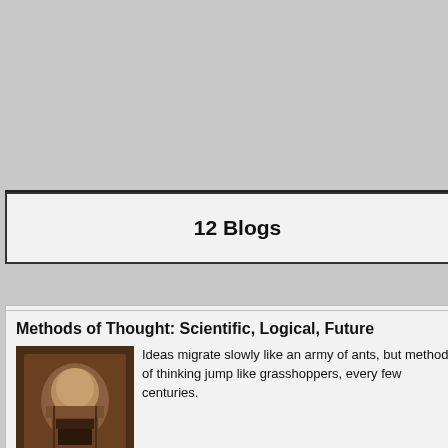12 Blogs
Methods of Thought: Scientific, Logical, Future
Ideas migrate slowly like an army of ants, but methods of thinking jump like grasshoppers, every few centuries.
Rise and Fall of Books
The The Director of America's first library sees books as mainly a 19th Century phenomenon.
Many Mickles in One Muckle